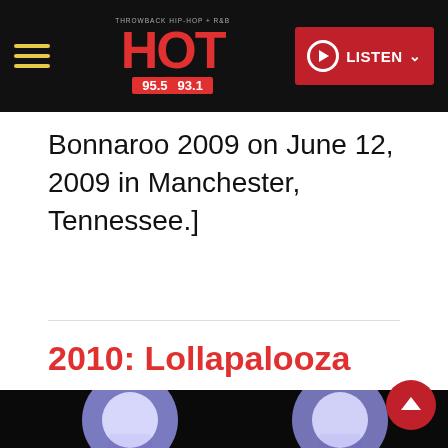HOT 95.5 93.1 — LISTEN
Bonnaroo 2009 on June 12, 2009 in Manchester, Tennessee.]
2010: Lollapalooza
[Figure (photo): Concert performance photo showing three performers on stage in white costumes, with stage lighting. Likely Lady Gaga at Lollapalooza 2010.]